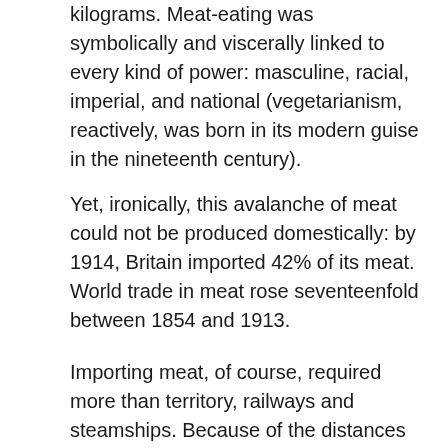kilograms. Meat-eating was symbolically and viscerally linked to every kind of power: masculine, racial, imperial, and national (vegetarianism, reactively, was born in its modern guise in the nineteenth century).
Yet, ironically, this avalanche of meat could not be produced domestically: by 1914, Britain imported 42% of its meat. World trade in meat rose seventeenfold between 1854 and 1913.
Importing meat, of course, required more than territory, railways and steamships. Because of the distances involved, it also needed refrigeration: hence the production of a cold chain linking abattoirs in Argentina and Australia with European cold stores.